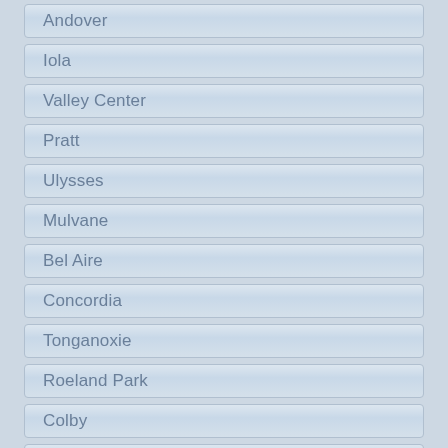Andover
Iola
Valley Center
Pratt
Ulysses
Mulvane
Bel Aire
Concordia
Tonganoxie
Roeland Park
Colby
Fort Leavenworth
Osawatomie